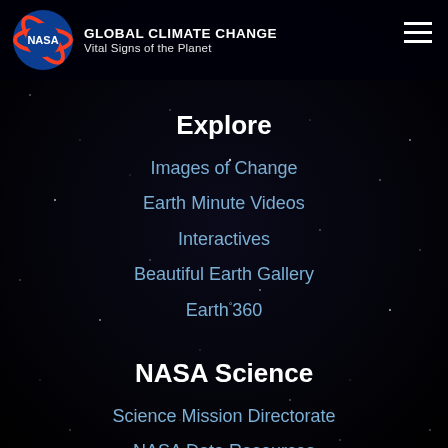NASA GLOBAL CLIMATE CHANGE Vital Signs of the Planet
Explore
Images of Change
Earth Minute Videos
Interactives
Beautiful Earth Gallery
Earth 360
NASA Science
Science Mission Directorate
NASA Data Resources
Earth System Science
Earth Science Missions
History